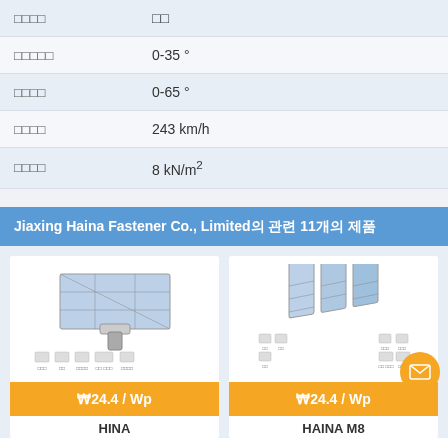| 속성 | 값 |
| --- | --- |
| 운영온도범위 | 0-35 ° |
| 저장온도범위 | 0-65 ° |
| 최대풍속 | 243 km/h |
| 최대적설하중 | 8 kN/m² |
Jiaxing Haina Fastener Co., Limited의 관련 11개의 제품
[Figure (photo): Solar panel mounting bracket assembly diagram with component breakdown]
₩24.4 / Wp
HINA
[Figure (photo): Solar fastener components diagram showing M8 hardware set with multiple parts]
₩24.4 / Wp
HAINA M8